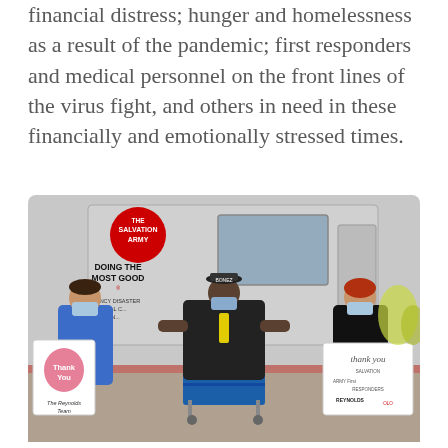financial distress; hunger and homelessness as a result of the pandemic; first responders and medical personnel on the front lines of the virus fight, and others in need in these financially and emotionally stressed times.
[Figure (photo): Three people wearing face masks standing in front of a Salvation Army emergency disaster truck. The person on the left holds a sign reading 'Thank You - The Reynolds Team' with a heart graphic. The person in the middle is wearing dark clothing and gives two thumbs up. The person on the right holds a sign reading 'thank you - First Responders - Reynolds'. There is a blue cart with white bags in front of them.]